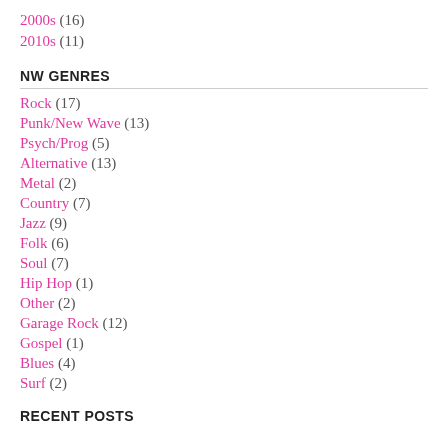2000s (16)
2010s (11)
NW GENRES
Rock (17)
Punk/New Wave (13)
Psych/Prog (5)
Alternative (13)
Metal (2)
Country (7)
Jazz (9)
Folk (6)
Soul (7)
Hip Hop (1)
Other (2)
Garage Rock (12)
Gospel (1)
Blues (4)
Surf (2)
RECENT POSTS